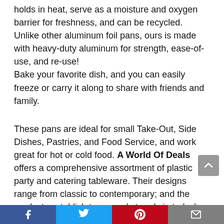holds in heat, serve as a moisture and oxygen barrier for freshness, and can be recycled. Unlike other aluminum foil pans, ours is made with heavy-duty aluminum for strength, ease-of-use, and re-use! Bake your favorite dish, and you can easily freeze or carry it along to share with friends and family.
These pans are ideal for small Take-Out, Side Dishes, Pastries, and Food Service, and work great for hot or cold food. A World Of Deals offers a comprehensive assortment of plastic party and catering tableware. Their designs range from classic to contemporary; and the products establish tomorrow's trends in today's market.
A decade of experience in the disposable tableware industry ensures they know just what the customer wants. A World